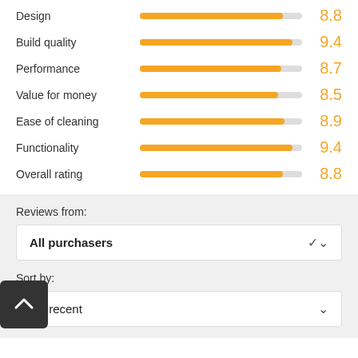[Figure (bar-chart): Ratings]
Reviews from:
All purchasers
Sort by:
Most recent